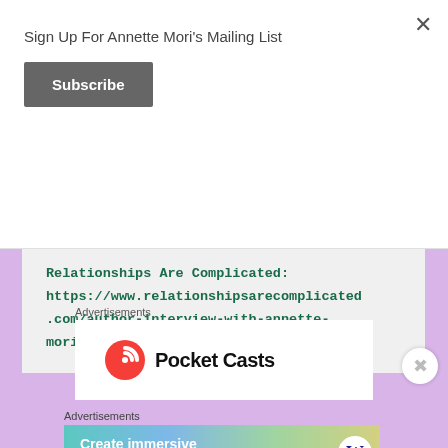Sign Up For Annette Mori's Mailing List
Subscribe
Relationships Are Complicated: https://www.relationshipsarecomplicated.com/author-interview-with-annette-mori/
Advertisements
[Figure (logo): Pocket Casts logo with orange spiral icon and bold black text 'Pocket Casts']
Advertisements
[Figure (infographic): WordPress advertisement banner with gradient background reading 'Create immersive stories. GET THE APP' with WordPress logo circle]